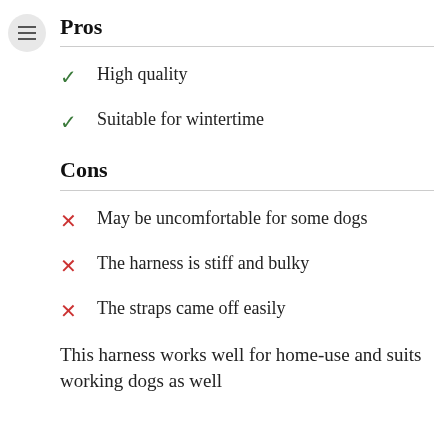Pros
High quality
Suitable for wintertime
Cons
May be uncomfortable for some dogs
The harness is stiff and bulky
The straps came off easily
This harness works well for home-use and suits working dogs as well